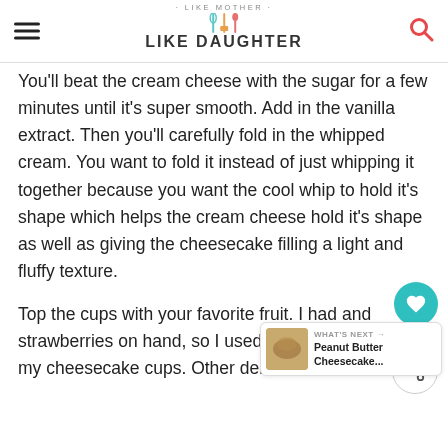LIKE MOTHER LIKE DAUGHTER
You'll beat the cream cheese with the sugar for a few minutes until it's super smooth. Add in the vanilla extract. Then you'll carefully fold in the whipped cream. You want to fold it instead of just whipping it together because you want the cool whip to hold it's shape which helps the cream cheese hold it's shape as well as giving the cheesecake filling a light and fluffy texture.
Top the cups with your favorite fruit. I had and strawberries on hand, so I used both of those to top my cheesecake cups. Other delicious choices